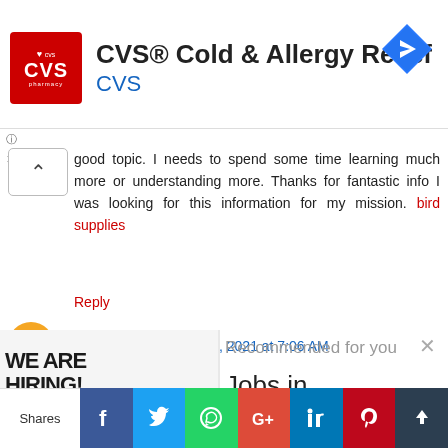[Figure (screenshot): CVS Pharmacy advertisement banner with red CVS logo, text 'CVS® Cold & Allergy Relief', subtitle 'CVS', and a blue navigation icon on the right]
good topic. I needs to spend some time learning much more or understanding more. Thanks for fantastic info I was looking for this information for my mission. bird supplies
Reply
robertdowney May 23, 2021 at 7:06 AM
[Figure (photo): 'We Are Hiring!' sign with Warehouse text on yellow background]
Recommended for you
Jobs in...
[Figure (infographic): Social share bar with Facebook, Twitter, WhatsApp, Google+, LinkedIn, Pinterest, and another share button. Shows 'Shares' label on left.]